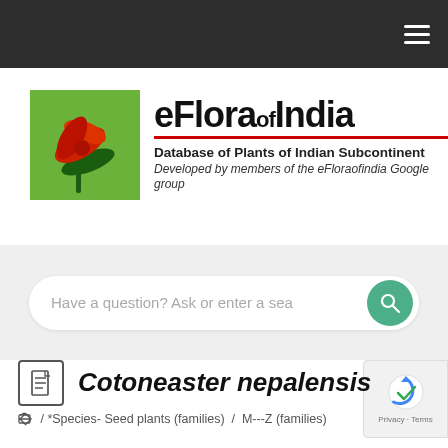eFlora of India — navigation bar
[Figure (logo): eFlora of India logo with green background showing a red flower, title text 'eFloraofIndia', subtitle 'Database of Plants of Indian Subcontinent', tagline 'Developed by members of the eFloraofindia Google group']
Have a question? Ask or enter a search term
Cotoneaster nepalensis
/ *Species- Seed plants (families) / M---Z (families)